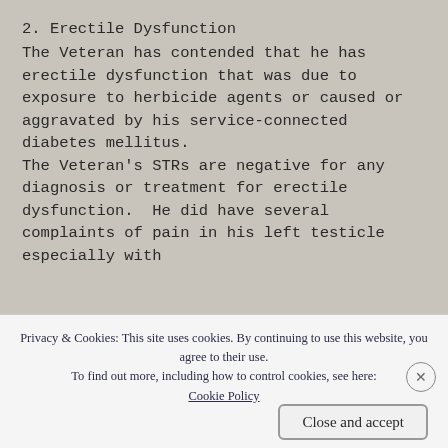2. Erectile Dysfunction
The Veteran has contended that he has erectile dysfunction that was due to exposure to herbicide agents or caused or aggravated by his service-connected diabetes mellitus. The Veteran's STRs are negative for any diagnosis or treatment for erectile dysfunction.  He did have several complaints of pain in his left testicle especially with
Privacy & Cookies: This site uses cookies. By continuing to use this website, you agree to their use. To find out more, including how to control cookies, see here: Cookie Policy
Close and accept